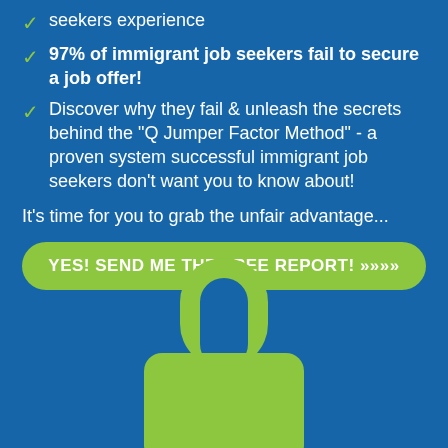seekers experience
97% of immigrant job seekers fail to secure a job offer!
Discover why they fail & unleash the secrets behind the "Q Jumper Factor Method" - a proven system successful immigrant job seekers don't want you to know about!
It's time for you to grab the unfair advantage...
YES! SEND ME THE FREE REPORT! >>>>
[Figure (illustration): Green padlock icon on blue background]